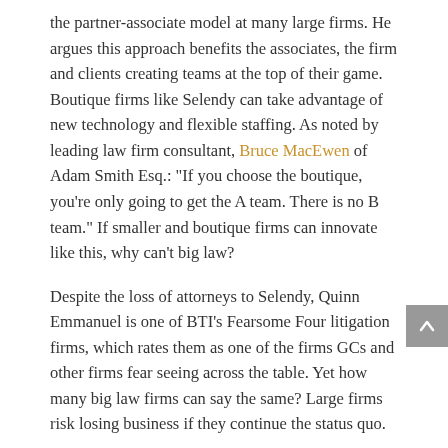the partner-associate model at many large firms. He argues this approach benefits the associates, the firm and clients creating teams at the top of their game. Boutique firms like Selendy can take advantage of new technology and flexible staffing. As noted by leading law firm consultant, Bruce MacEwen of Adam Smith Esq.: “If you choose the boutique, you’re only going to get the A team. There is no B team.” If smaller and boutique firms can innovate like this, why can’t big law?
Despite the loss of attorneys to Selendy, Quinn Emmanuel is one of BTI’s Fearsome Four litigation firms, which rates them as one of the firms GCs and other firms fear seeing across the table. Yet how many big law firms can say the same? Large firms risk losing business if they continue the status quo.
Additional Benefits of a Strong Litigation Practice